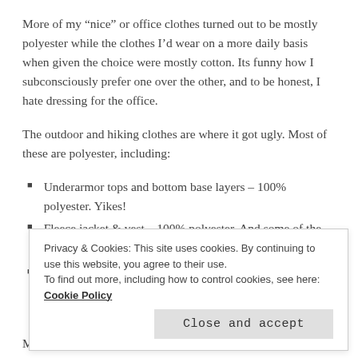More of my “nice” or office clothes turned out to be mostly polyester while the clothes I’d wear on a more daily basis when given the choice were mostly cotton. Its funny how I subconsciously prefer one over the other, and to be honest, I hate dressing for the office.
The outdoor and hiking clothes are where it got ugly. Most of these are polyester, including:
Underarmor tops and bottom base layers – 100% polyester. Yikes!
Fleece jacket & vest – 100% polyester. And some of the...
...
Privacy & Cookies: This site uses cookies. By continuing to use this website, you agree to their use.
To find out more, including how to control cookies, see here: Cookie Policy
Close and accept
My rainjacket, a Pacific Northwest staple, is 100% nylon, but